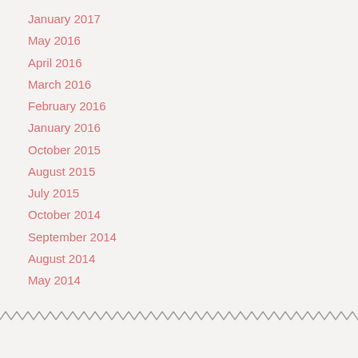January 2017
May 2016
April 2016
March 2016
February 2016
January 2016
October 2015
August 2015
July 2015
October 2014
September 2014
August 2014
May 2014
[Figure (other): Decorative zigzag/wavy line border at the bottom of the page]